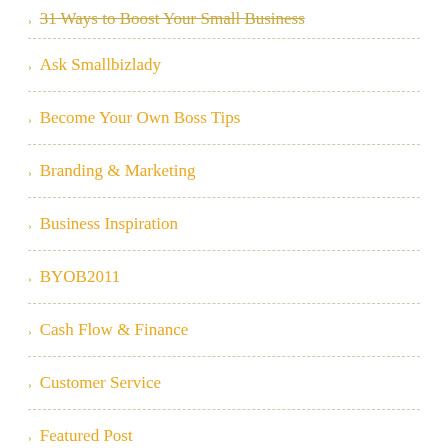31 Ways to Boost Your Small Business
Ask Smallbizlady
Become Your Own Boss Tips
Branding & Marketing
Business Inspiration
BYOB2011
Cash Flow & Finance
Customer Service
Featured Post